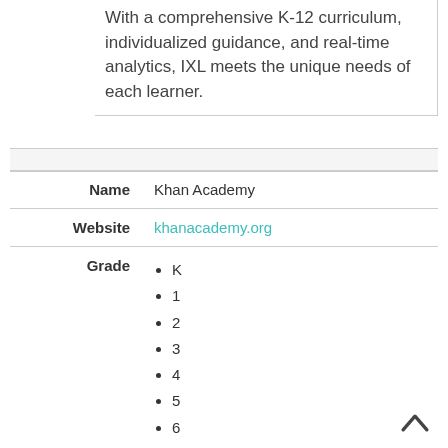With a comprehensive K-12 curriculum, individualized guidance, and real-time analytics, IXL meets the unique needs of each learner.
| Field | Value |
| --- | --- |
| Name | Khan Academy |
| Website | khanacademy.org |
| Grade | K, 1, 2, 3, 4, 5, 6, 7, 8 |